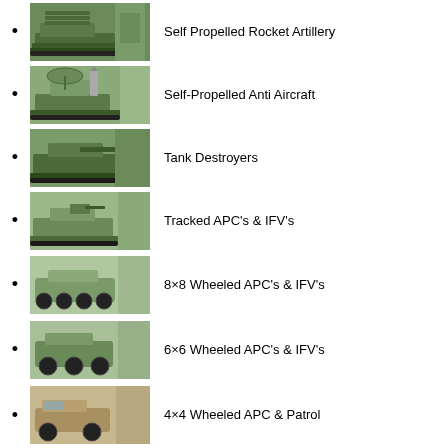Self Propelled Rocket Artillery
Self-Propelled Anti Aircraft
Tank Destroyers
Tracked APC's & IFV's
8×8 Wheeled APC's & IFV's
6×6 Wheeled APC's & IFV's
4×4 Wheeled APC & Patrol